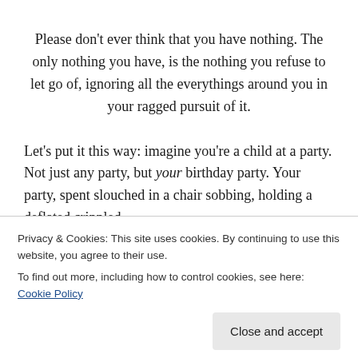Please don't ever think that you have nothing. The only nothing you have, is the nothing you refuse to let go of, ignoring all the everythings around you in your ragged pursuit of it.
Let's put it this way: imagine you're a child at a party. Not just any party, but your birthday party. Your party, spent slouched in a chair sobbing, holding a deflated crippled
Privacy & Cookies: This site uses cookies. By continuing to use this website, you agree to their use.
To find out more, including how to control cookies, see here: Cookie Policy
lamenting the fact that this balloon – this very special